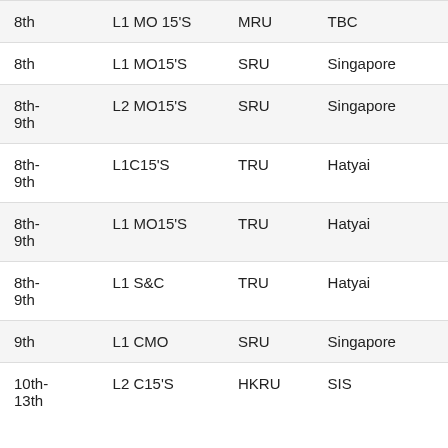| 8th | L1 MO 15'S | MRU | TBC |
| 8th | L1 MO15'S | SRU | Singapore |
| 8th-
9th | L2 MO15'S | SRU | Singapore |
| 8th-
9th | L1C15'S | TRU | Hatyai |
| 8th-
9th | L1 MO15'S | TRU | Hatyai |
| 8th-
9th | L1 S&C | TRU | Hatyai |
| 9th | L1 CMO | SRU | Singapore |
| 10th-
13th | L2 C15'S | HKRU | SIS |